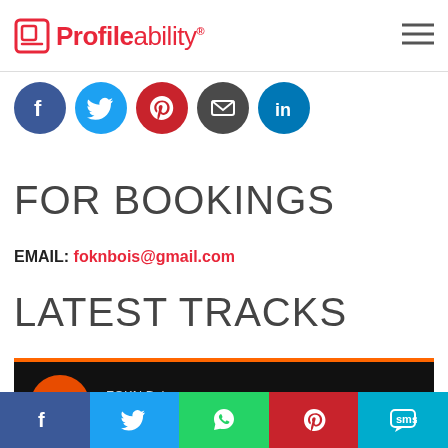Profileability®
[Figure (infographic): Row of 5 social media circular icon buttons: Facebook (blue), Twitter (light blue), Pinterest (red), Email (dark gray), LinkedIn (blue)]
FOR BOOKINGS
EMAIL: foknbois@gmail.com
LATEST TRACKS
[Figure (screenshot): SoundCloud embedded player widget showing FOKN Bois Latest tracks with orange play button on black background with SoundCloud logo]
[Figure (infographic): Bottom share bar with 5 colored buttons: Facebook (dark blue), Twitter (light blue), WhatsApp (green), Pinterest (red), SMS (cyan)]